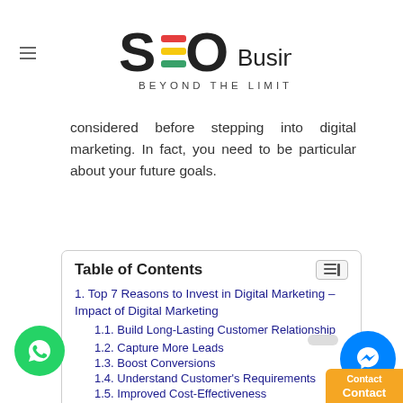SEO Business - Beyond The Limit
considered before stepping into digital marketing. In fact, you need to be particular about your future goals.
| Table of Contents |
| --- |
| . Top 7 Reasons to Invest in Digital Marketing – Impact of Digital Marketing |
| 1.1. Build Long-Lasting Customer Relationship |
| 1.2. Capture More Leads |
| 1.3. Boost Conversions |
| 1.4. Understand Customer's Requirements |
| 1.5. Improved Cost-Effectiveness |
| 1.6. Measure ROI |
| 1.7. Stand Apart from the Competition |
| 1.8. Conclusion |